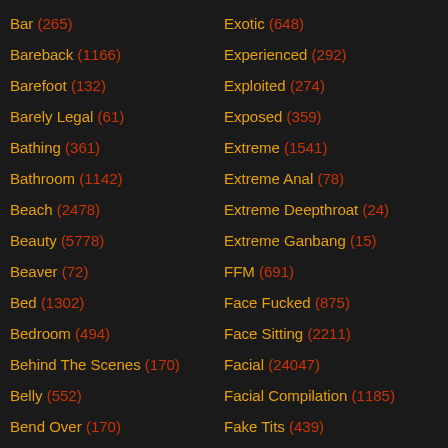Bar (265)
Bareback (1166)
Barefoot (132)
Barely Legal (61)
Bathing (361)
Bathroom (1142)
Beach (2478)
Beauty (5778)
Beaver (72)
Bed (1302)
Bedroom (494)
Behind The Scenes (170)
Belly (552)
Bend Over (170)
Beurette (363)
Big Ass (28877)
Exotic (648)
Experienced (292)
Exploited (274)
Exposed (359)
Extreme (1541)
Extreme Anal (78)
Extreme Deepthroat (24)
Extreme Ganbang (15)
FFM (691)
Face Fucked (875)
Face Sitting (2211)
Facial (24047)
Facial Compilation (1185)
Fake Tits (439)
Famous (101)
Fantasy (701)